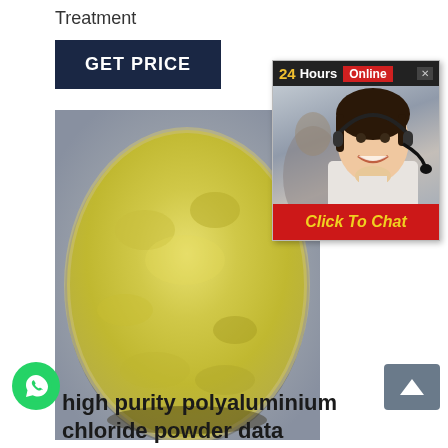Treatment
GET PRICE
[Figure (photo): Yellow powder (polyaluminium chloride) in a glass bowl on a grey background]
[Figure (screenshot): 24Hours Online chat widget with smiling female customer service agent wearing a headset, and a red 'Click To Chat' button at the bottom]
[Figure (photo): Green WhatsApp icon button]
high purity polyaluminium chloride powder data